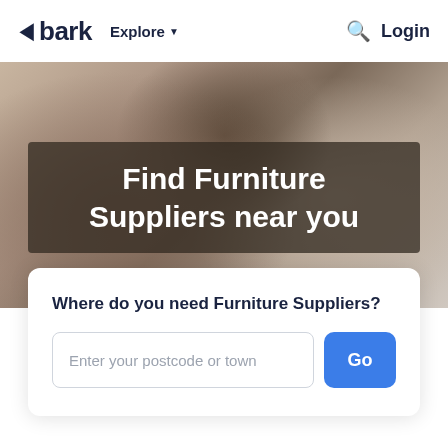bark  Explore  Login
[Figure (photo): Blurred close-up photo of hands handling furniture, warm brown and beige tones, with overlaid dark semi-transparent banner containing hero text.]
Find Furniture Suppliers near you
Where do you need Furniture Suppliers?
Enter your postcode or town
Go